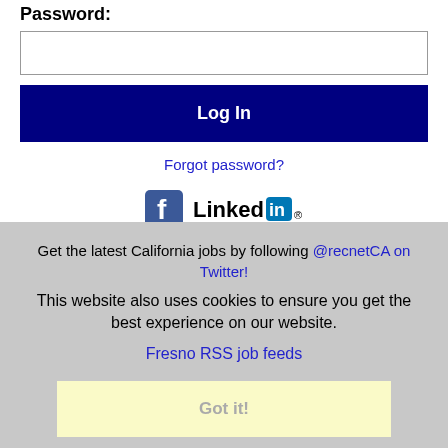Password:
[Figure (screenshot): Password input field (empty text box)]
Log In
Forgot password?
[Figure (logo): Facebook logo icon and LinkedIn logo icon side by side]
Get the latest California jobs by following @recnetCA on Twitter!
Fresno RSS job feeds
Got it!